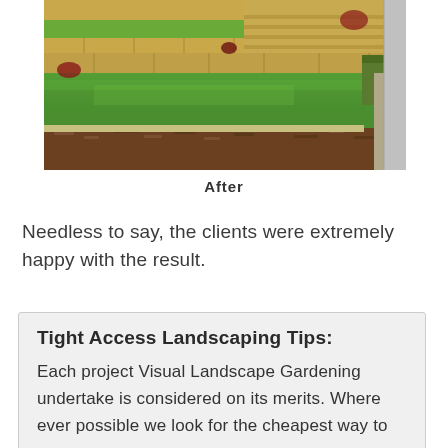[Figure (photo): Photograph of a landscaped backyard after renovation, showing terraced retaining walls made of sandstone blocks, manicured green lawn, garden beds with mulch, and concrete steps leading up the terraces.]
After
Needless to say, the clients were extremely happy with the result.
Tight Access Landscaping Tips:
Each project Visual Landscape Gardening undertake is considered on its merits. Where ever possible we look for the cheapest way to